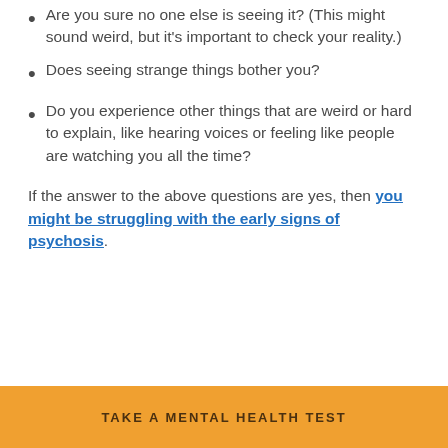Are you sure no one else is seeing it? (This might sound weird, but it's important to check your reality.)
Does seeing strange things bother you?
Do you experience other things that are weird or hard to explain, like hearing voices or feeling like people are watching you all the time?
If the answer to the above questions are yes, then you might be struggling with the early signs of psychosis.
TAKE A MENTAL HEALTH TEST